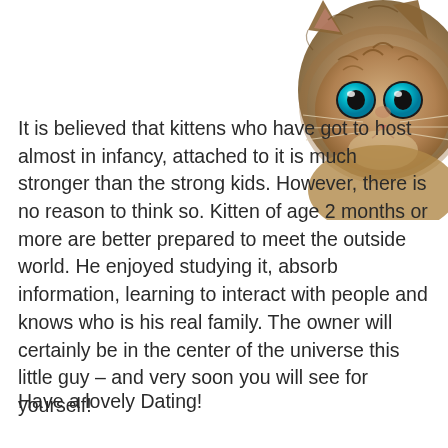[Figure (illustration): Illustrated fluffy kitten with big blue eyes peeking from the top-right corner of the page]
It is believed that kittens who have got to host almost in infancy, attached to it is much stronger than the strong kids. However, there is no reason to think so. Kitten of age 2 months or more are better prepared to meet the outside world. He enjoyed studying it, absorb information, learning to interact with people and knows who is his real family. The owner will certainly be in the center of the universe this little guy – and very soon you will see for yourself!
Have a lovely Dating!